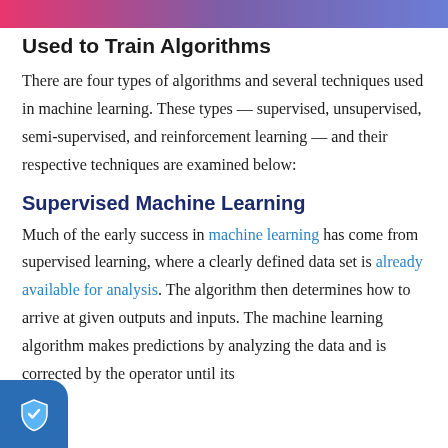Used to Train Algorithms
There are four types of algorithms and several techniques used in machine learning. These types — supervised, unsupervised, semi-supervised, and reinforcement learning — and their respective techniques are examined below:
Supervised Machine Learning
Much of the early success in machine learning has come from supervised learning, where a clearly defined data set is already available for analysis. The algorithm then determines how to arrive at given outputs and inputs. The machine learning algorithm makes predictions by analyzing the data and is corrected by the operator until its